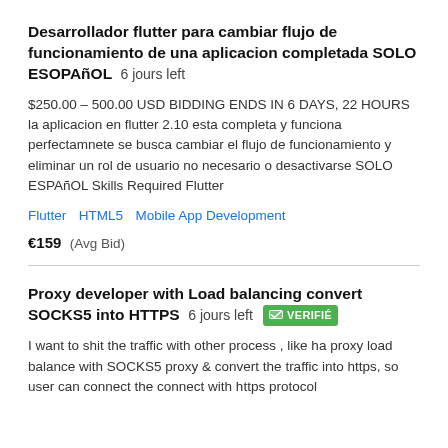Desarrollador flutter para cambiar flujo de funcionamiento de una aplicacion completada SOLO ESOPAñOL  6 jours left
$250.00 – 500.00 USD BIDDING ENDS IN 6 DAYS, 22 HOURS la aplicacion en flutter 2.10 esta completa y funciona perfectamnete se busca cambiar el flujo de funcionamiento y eliminar un rol de usuario no necesario o desactivarse SOLO ESPAñOL Skills Required Flutter
Flutter   HTML5   Mobile App Development
€159  (Avg Bid)
Proxy developer with Load balancing convert SOCKS5 into HTTPS  6 jours left  VERIFIÉ
I want to shit the traffic with other process , like ha proxy load balance with SOCKS5 proxy & convert the traffic into https, so user can connect the connect with https protocol